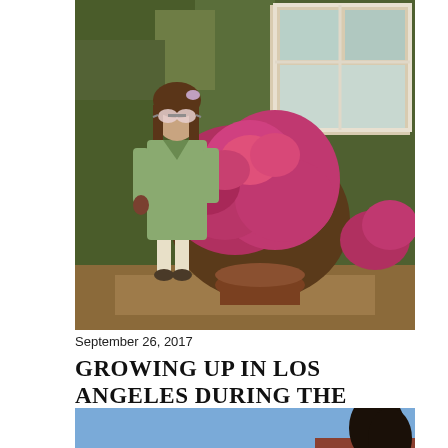[Figure (photo): Vintage color photo of a young girl wearing sunglasses and a light green coat standing in front of a wall of dark green hedges with bright pink flowering bushes and a white window visible in the background.]
September 26, 2017
GROWING UP IN LOS ANGELES DURING THE 1970'S & 1980'S
Share   104 comments
[Figure (photo): Vintage color photo showing a bright blue sky with a dark tree silhouetted on the right side and a reddish-brown building partially visible.]